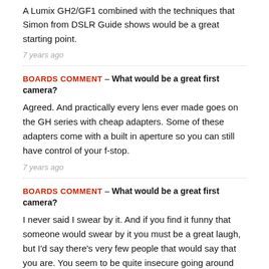A Lumix GH2/GF1 combined with the techniques that Simon from DSLR Guide shows would be a great starting point.
7 years ago
BOARDS COMMENT – What would be a great first camera?
Agreed. And practically every lens ever made goes on the GH series with cheap adapters. Some of these adapters come with a built in aperture so you can still have control of your f-stop.
7 years ago
BOARDS COMMENT – What would be a great first camera?
I never said I swear by it. And if you find it funny that someone would swear by it you must be a great laugh, but I'd say there's very few people that would say that you are. You seem to be quite insecure going around NFS being hostile towards people and their opinions. Everything is 'terrible' or 'shit' according to yourself. So much fun you seem to be.